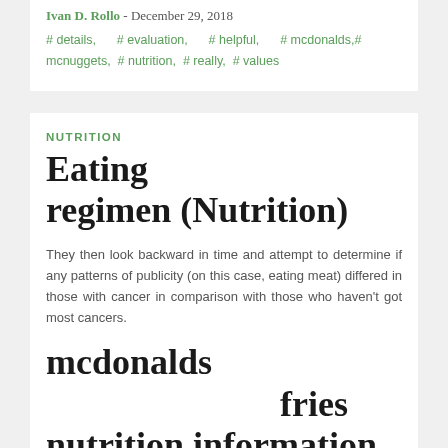Ivan D. Rollo - December 29, 2018
# details,    # evaluation,    # helpful,    # mcdonalds,# mcnuggets,  # nutrition,  # really,  # values
NUTRITION
Eating regimen (Nutrition)
They then look backward in time and attempt to determine if any patterns of publicity (on this case, eating meat) differed in those with cancer in comparison with those who haven't got most cancers.
mcdonalds fries nutrition information